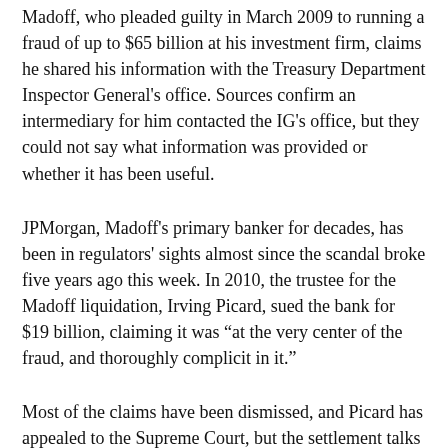Madoff, who pleaded guilty in March 2009 to running a fraud of up to $65 billion at his investment firm, claims he shared his information with the Treasury Department Inspector General's office. Sources confirm an intermediary for him contacted the IG's office, but they could not say what information was provided or whether it has been useful.
JPMorgan, Madoff's primary banker for decades, has been in regulators' sights almost since the scandal broke five years ago this week. In 2010, the trustee for the Madoff liquidation, Irving Picard, sued the bank for $19 billion, claiming it was “at the very center of the fraud, and thoroughly complicit in it.”
Most of the claims have been dismissed, and Picard has appealed to the Supreme Court, but the settlement talks with the Justice